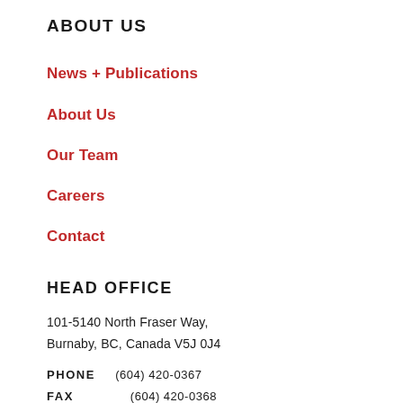ABOUT US
News + Publications
About Us
Our Team
Careers
Contact
HEAD OFFICE
101-5140 North Fraser Way,
Burnaby, BC, Canada V5J 0J4
PHONE   (604) 420-0367
FAX       (604) 420-0368
EMAIL   info@coanda.ca